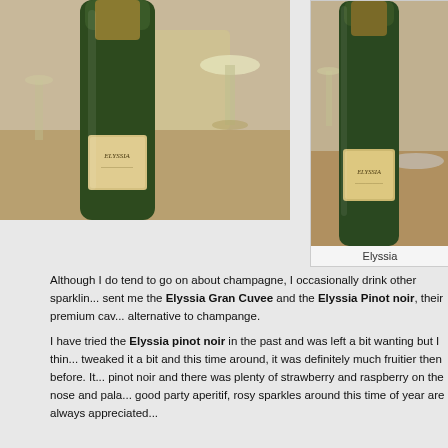[Figure (photo): Green wine bottle labeled Elyssia on a table with wine glasses in the background]
[Figure (photo): Green wine bottle labeled Elyssia on a table, closer view]
Elyssia
Although I do tend to go on about champagne, I occasionally drink other sparkling wines. sent me the Elyssia Gran Cuvee and the Elyssia Pinot noir, their premium cav... alternative to champange.
I have tried the Elyssia pinot noir in the past and was left a bit wanting but I thin... tweaked it a bit and this time around, it was definitely much fruitier then before. It... pinot noir and there was plenty of strawberry and raspberry on the nose and pala... good party aperitif, rosy sparkles around this time of year are always appreciated...